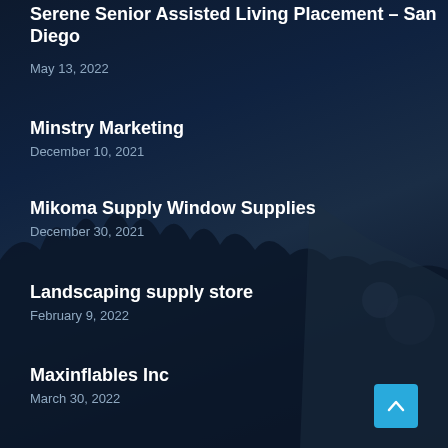Serene Senior Assisted Living Placement – San Diego
May 13, 2022
Minstry Marketing
December 10, 2021
Mikoma Supply Window Supplies
December 30, 2021
Landscaping supply store
February 9, 2022
Maxinflables Inc
March 30, 2022